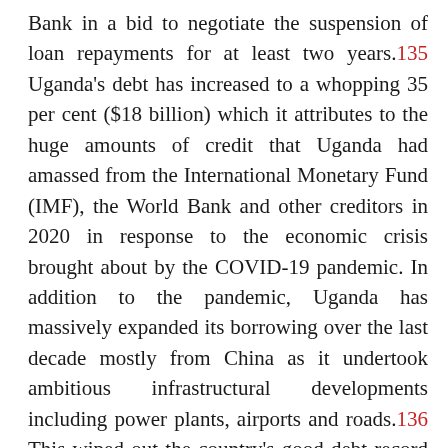Bank in a bid to negotiate the suspension of loan repayments for at least two years.135 Uganda's debt has increased to a whopping 35 per cent ($18 billion) which it attributes to the huge amounts of credit that Uganda had amassed from the International Monetary Fund (IMF), the World Bank and other creditors in 2020 in response to the economic crisis brought about by the COVID-19 pandemic. In addition to the pandemic, Uganda has massively expanded its borrowing over the last decade mostly from China as it undertook ambitious infrastructural developments including power plants, airports and roads.136 This wiped out the country's good debt record that had been aided by debt cancellation programmes by the World Bank and the IMF for poor and highly-indebted countries.
The Finance Minister warned that by June 2021 the country's debt load could surpass the 50 per cent GDP mark and by July, Uganda would use 20